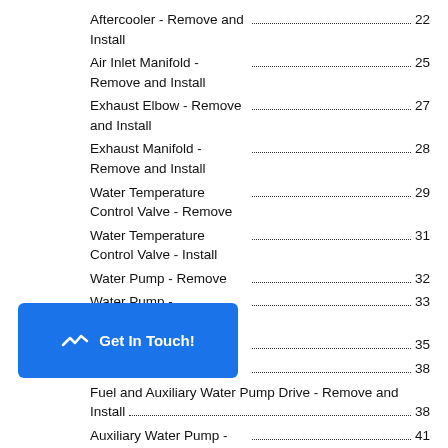Aftercooler - Remove and Install ........................... 22
Air Inlet Manifold - Remove and Install .............. 25
Exhaust Elbow - Remove and Install ................... 27
Exhaust Manifold - Remove and Install .............. 28
Water Temperature Control Valve - Remove ......... 29
Water Temperature Control Valve - Install ............ 31
Water Pump - Remove ...................................... 32
Water Pump - Disassemble ............................... 33
Water Pump - Assemble ................................... 35
Water Pump - Install ........................................ 38
Fuel and Auxiliary Water Pump Drive - Remove and Install ............................................................. 38
Auxiliary Water Pump - Remove ......................... 41
Auxiliary Water Pump - Disassemble .................. 42
Auxiliary Water Pump - Assemble ...................... 43
Auxiliary Water Pump - Install ........................... 45
[partially hidden] - Remove ............................... 46
[partially hidden] - Disassemble ........................ 47
[partially hidden] - Assemble ............................ 48
Engine Oil Cooler - Install ................................. 48
[Figure (screenshot): Blue 'Get In Touch!' chat button overlay in bottom-left corner]